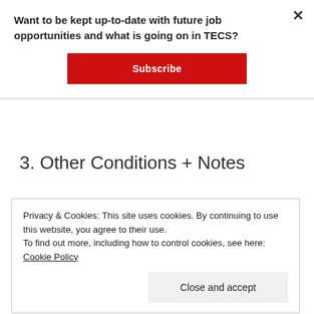Want to be kept up-to-date with future job opportunities and what is going on in TECS?
Subscribe
3. Other Conditions + Notes
Privacy & Cookies: This site uses cookies. By continuing to use this website, you agree to their use.
To find out more, including how to control cookies, see here: Cookie Policy
Close and accept
will have assigned time off as stated in the relevant job